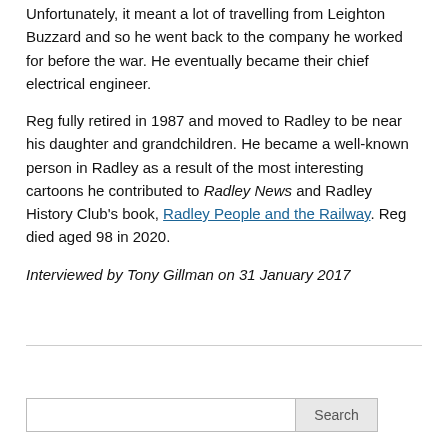Unfortunately, it meant a lot of travelling from Leighton Buzzard and so he went back to the company he worked for before the war. He eventually became their chief electrical engineer.
Reg fully retired in 1987 and moved to Radley to be near his daughter and grandchildren. He became a well-known person in Radley as a result of the most interesting cartoons he contributed to Radley News and Radley History Club's book, Radley People and the Railway. Reg died aged 98 in 2020.
Interviewed by Tony Gillman on 31 January 2017